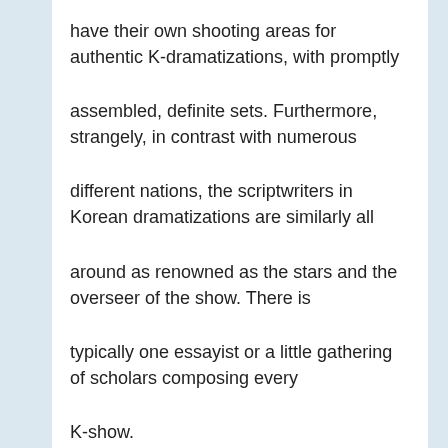have their own shooting areas for authentic K-dramatizations, with promptly
assembled, definite sets. Furthermore, strangely, in contrast with numerous
different nations, the scriptwriters in Korean dramatizations are similarly all
around as renowned as the stars and the overseer of the show. There is
typically one essayist or a little gathering of scholars composing every
K-show.